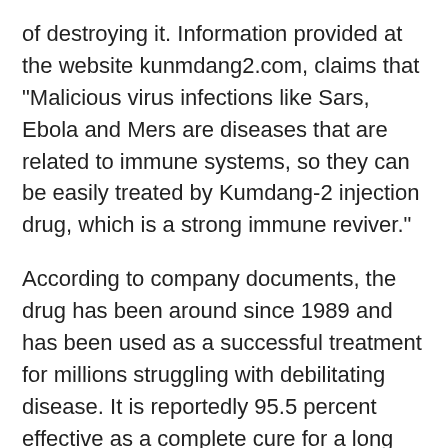of destroying it. Information provided at the website kunmdang2.com, claims that "Malicious virus infections like Sars, Ebola and Mers are diseases that are related to immune systems, so they can be easily treated by Kumdang-2 injection drug, which is a strong immune reviver."
According to company documents, the drug has been around since 1989 and has been used as a successful treatment for millions struggling with debilitating disease. It is reportedly 95.5 percent effective as a complete cure for a long list of health issues. Administration of the drug is recommended in timely injections over the course of two weeks. View the sources for these claim here.
Don't expect any mainstream medical authorities in the U.S. to embrace Kumdang-2 since chemotherapy and radiation